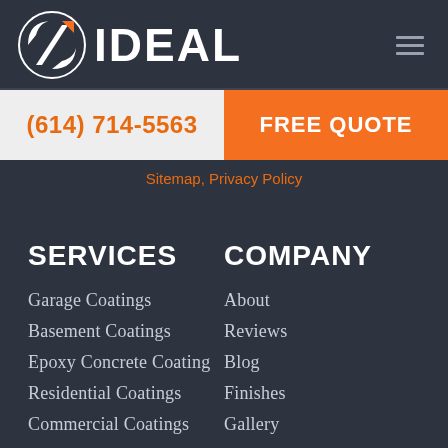[Figure (logo): IDEAL logo with circular icon and white IDEAL wordmark on dark background]
(614) 714-5563
FREE QUOTE
Sitemap, Privacy Policy
SERVICES
COMPANY
Garage Coatings
Basement Coatings
Epoxy Concrete Coating
Residential Coatings
Commercial Coatings
Concrete Coatings
About
Reviews
Blog
Finishes
Gallery
Contact Us